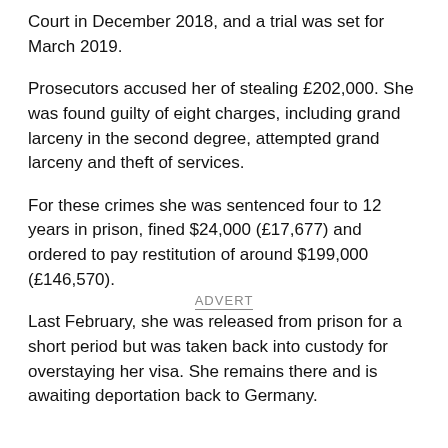Court in December 2018, and a trial was set for March 2019.
Prosecutors accused her of stealing £202,000. She was found guilty of eight charges, including grand larceny in the second degree, attempted grand larceny and theft of services.
For these crimes she was sentenced four to 12 years in prison, fined $24,000 (£17,677) and ordered to pay restitution of around $199,000 (£146,570).
Last February, she was released from prison for a short period but was taken back into custody for overstaying her visa. She remains there and is awaiting deportation back to Germany.
ADVERT